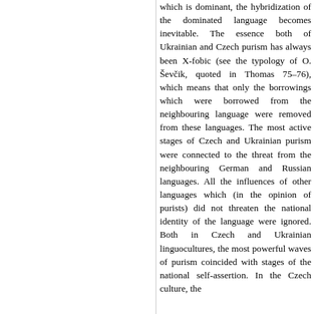which is dominant, the hybridization of the dominated language becomes inevitable. The essence both of Ukrainian and Czech purism has always been X-fobic (see the typology of O. Ševčik, quoted in Thomas 75–76), which means that only the borrowings which were borrowed from the neighbouring language were removed from these languages. The most active stages of Czech and Ukrainian purism were connected to the threat from the neighbouring German and Russian languages. All the influences of other languages which (in the opinion of purists) did not threaten the national identity of the language were ignored. Both in Czech and Ukrainian linguocultures, the most powerful waves of purism coincided with stages of the national self-assertion. In the Czech culture, the